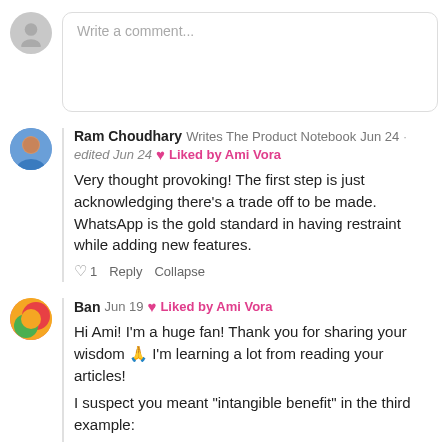Write a comment...
Ram Choudhary  Writes The Product Notebook  Jun 24 · edited Jun 24  ❤ Liked by Ami Vora
Very thought provoking! The first step is just acknowledging there's a trade off to be made. WhatsApp is the gold standard in having restraint while adding new features.
♡ 1  Reply  Collapse
Ban  Jun 19  ❤ Liked by Ami Vora
Hi Ami! I'm a huge fan! Thank you for sharing your wisdom 🙏 I'm learning a lot from reading your articles!
I suspect you meant "intangible benefit" in the third example: